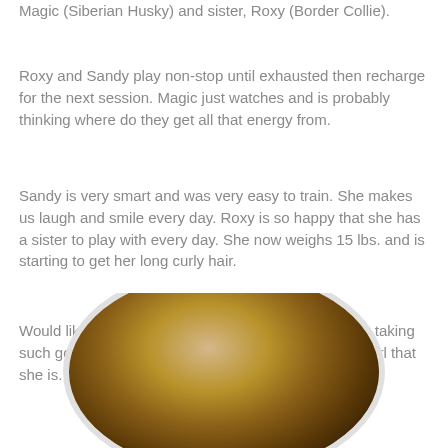Magic (Siberian Husky) and sister, Roxy (Border Collie).
Roxy and Sandy play non-stop until exhausted then recharge for the next session. Magic just watches and is probably thinking where do they get all that energy from.
Sandy is very smart and was very easy to train. She makes us laugh and smile every day. Roxy is so happy that she has a sister to play with every day. She now weighs 15 lbs. and is starting to get her long curly hair.
Would like to thank the staff at The Top Dog Store for taking such good care of Sandy and making her the happy girl that she is. - Kathy G.
[Figure (photo): Close-up photo of a dog (likely Sandy) shown inside an oval/circular frame with a light gray border. The dog appears to have golden/brown fur and a dark nose visible at the bottom.]